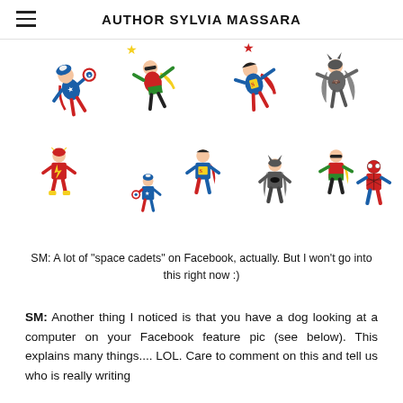AUTHOR SYLVIA MASSARA
[Figure (illustration): Colorful cartoon illustration of child superheroes including Captain America, Robin, Superman, Batman, The Flash, and Spider-Man in various flying and standing poses]
SM: A lot of "space cadets" on Facebook, actually. But I won't go into this right now :)
SM: Another thing I noticed is that you have a dog looking at a computer on your Facebook feature pic (see below). This explains many things.... LOL. Care to comment on this and tell us who is really writing